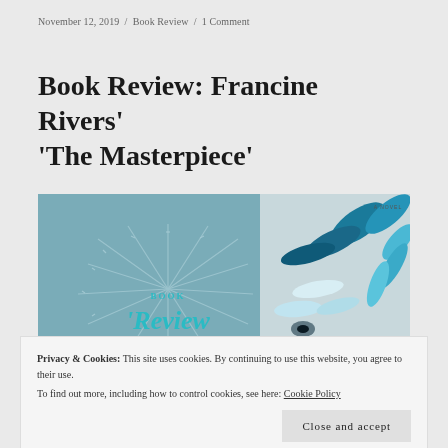November 12, 2019  /  Book Review  /  1 Comment
Book Review: Francine Rivers' 'The Masterpiece'
[Figure (photo): Book review banner image split into two halves: left side is a muted teal/blue background with radiating line illustrations and the word 'BOOK' above 'Review' in teal script; right side shows the cover of 'The Masterpiece' featuring a detailed painting of a bird with blue feathers and the text 'THE' at the bottom.]
Privacy & Cookies: This site uses cookies. By continuing to use this website, you agree to their use.
To find out more, including how to control cookies, see here: Cookie Policy
Close and accept
The Masterpiece was the huge book I got for myself last